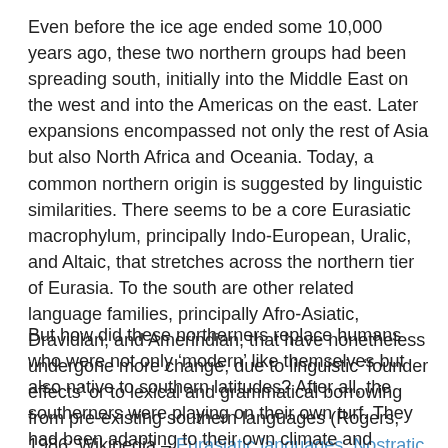Even before the ice age ended some 10,000 years ago, these two northern groups had been spreading south, initially into the Middle East on the west and into the Americas on the east. Later expansions encompassed not only the rest of Asia but also North Africa and Oceania. Today, a common northern origin is suggested by linguistic similarities. There seems to be a core Eurasiatic macrophylum, principally Indo-European, Uralic, and Altaic, that stretches across the northern tier of Eurasia. To the south are other related language families, principally Afro-Asiatic, Dravidian, and Amerindian, that have nonetheless undergone more change, due to linguistic ‘founder effects’ or to lexical and grammatical borrowing from pre-existing southern languages (Rogers, 1986; Wikipedia – Eurasiatic languages, Nostratic languages).
But how did these northerners replace humans who were not only ‘modern’ like themselves but also native to southern latitudes? After all, the southerners were playing on their own turf. They had been adapting to their own climate and ecosystem for much longer. What happened to the home team advantage?